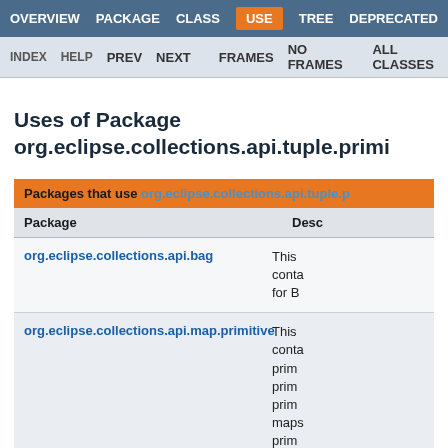OVERVIEW  PACKAGE  CLASS  USE  TREE  DEPRECATED
INDEX  HELP  PREV  NEXT  FRAMES  NO FRAMES  ALL CLASSES
Uses of Package org.eclipse.collections.api.tuple.primi
| Package | Desc |
| --- | --- |
| org.eclipse.collections.api.bag | This conta for B |
| org.eclipse.collections.api.map.primitive | This conta prim prim prim maps prim |